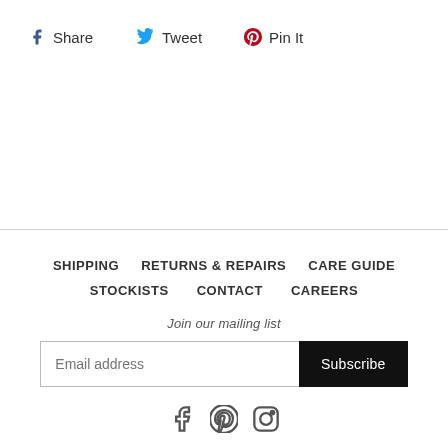Share
Tweet
Pin It
SHIPPING   RETURNS & REPAIRS   CARE GUIDE   STOCKISTS   CONTACT   CAREERS
Join our mailing list
Email address  Subscribe
[Figure (other): Social media icons: Facebook, Pinterest, Instagram]